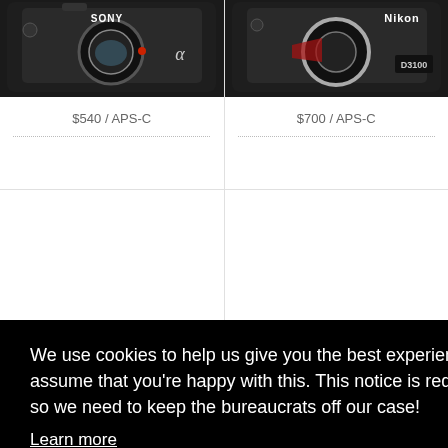[Figure (photo): Sony Alpha DSLR camera body (front view, no lens) in black]
[Figure (photo): Nikon D3100 DSLR camera body (front view, no lens) in black]
$540 / APS-C
$700 / APS-C
We use cookies to help us give you the best experience on IR. If you continue to use this site, we will assume that you're happy with this. This notice is required by recent EU rules, and IR is read globally, so we need to keep the bureaucrats off our case!
Learn more
Got it!
[Figure (photo): Camera bodies (bottom row, partially visible): appears to show two cameras including a Nikon]
[Figure (photo): Another camera body partially visible at bottom]